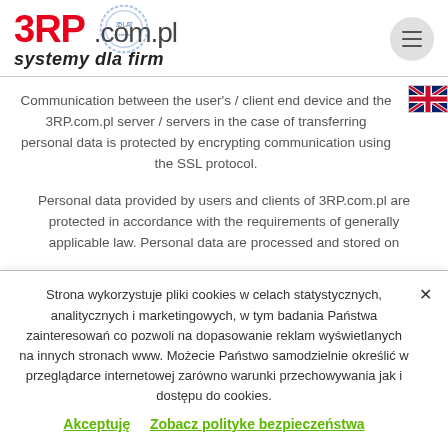[Figure (logo): 3RP.com.pl logo with red bold 3RP text, stamp overlay reading 35 LAT, and italic tagline 'systemy dla firm']
Communication between the user's / client end device and the 3RP.com.pl server / servers in the case of transferring personal data is protected by encrypting communication using the SSL protocol.
Personal data provided by users and clients of 3RP.com.pl are protected in accordance with the requirements of generally applicable law. Personal data are processed and stored on
Strona wykorzystuje pliki cookies w celach statystycznych, analitycznych i marketingowych, w tym badania Państwa zainteresowań co pozwoli na dopasowanie reklam wyświetlanych na innych stronach www. Możecie Państwo samodzielnie określić w przeglądarce internetowej zarówno warunki przechowywania jak i dostępu do cookies.
Akceptuję    Zobacz polityke bezpieczeństwa